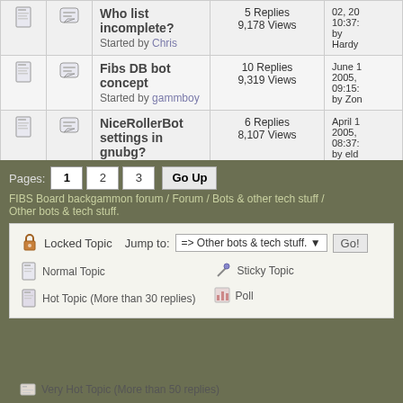|  |  | Topic | Stats | Date |
| --- | --- | --- | --- | --- |
| (icon) | (icon) | Who list incomplete?
Started by Chris | 5 Replies
9,178 Views | 02, 20
10:37:
by Hardy |
| (icon) | (icon) | Fibs DB bot concept
Started by gammboy | 10 Replies
9,319 Views | June 1
2005,
09:15:
by Zon |
| (icon) | (icon) | NiceRollerBot settings in gnubg?
Started by eldadrosi | 6 Replies
8,107 Views | April 1
2005,
08:37:
by eld |
Pages: 1 2 3 Go Up
FIBS Board backgammon forum / Forum / Bots & other tech stuff / Other bots & tech stuff.
Locked Topic  Jump to: => Other bots & tech stuff.  Go!
Normal Topic
Hot Topic (More than 30 replies)
Sticky Topic
Poll
Very Hot Topic (More than 50 replies)